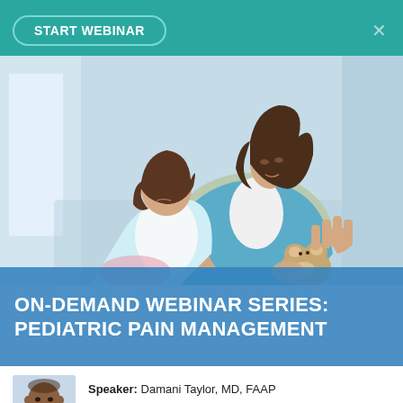[Figure (screenshot): Webinar interface header with teal background and START WEBINAR button]
[Figure (photo): A mother comforting a sick young girl in a medical/hospital setting. The mother has long dark hair and is holding the child close. The child rests her head on the mother and holds a small stuffed animal.]
ON-DEMAND WEBINAR SERIES: PEDIATRIC PAIN MANAGEMENT
[Figure (photo): Headshot photo of speaker Damani Taylor, MD, FAAP]
Speaker: Damani Taylor, MD, FAAP